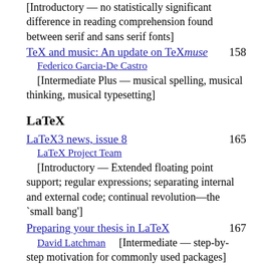[Introductory — no statistically significant difference in reading comprehension found between serif and sans serif fonts]
TeX and music: An update on TeXmuse  158
Federico Garcia-De Castro
[Intermediate Plus — musical spelling, musical thinking, musical typesetting]
LaTeX
LaTeX3 news, issue 8  165
LaTeX Project Team
[Introductory — Extended floating point support; regular expressions; separating internal and external code; continual revolution—the `small bang']
Preparing your thesis in LaTeX  167
David Latchman  [Intermediate — step-by-step motivation for commonly used packages]
A university thesis class: Automation and  172
its pitfalls